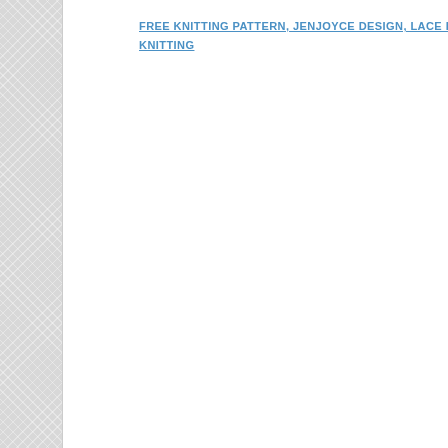FREE KNITTING PATTERN, JENJOYCE DESIGN, LACE KNITTING, UNA COS KNITTING